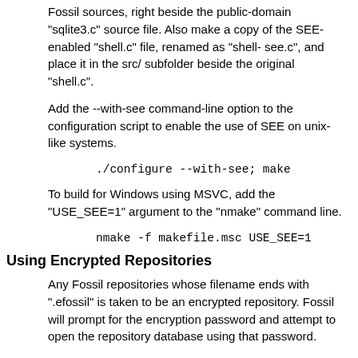Fossil sources, right beside the public-domain "sqlite3.c" source file. Also make a copy of the SEE-enabled "shell.c" file, renamed as "shell-see.c", and place it in the src/ subfolder beside the original "shell.c".
Add the --with-see command-line option to the configuration script to enable the use of SEE on unix-like systems.
./configure --with-see; make
To build for Windows using MSVC, add the "USE_SEE=1" argument to the "nmake" command line.
nmake -f makefile.msc USE_SEE=1
Using Encrypted Repositories
Any Fossil repositories whose filename ends with ".efossil" is taken to be an encrypted repository. Fossil will prompt for the encryption password and attempt to open the repository database using that password.
Every invocation of fossil on an encrypted